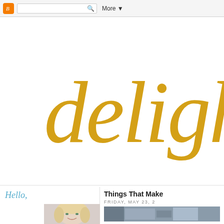[Figure (screenshot): Blogger navigation toolbar with orange Blogger icon, search box, and More dropdown]
delight
Hello,
[Figure (photo): Portrait photo of a smiling blonde woman]
Things That Make
FRIDAY, MAY 23,
[Figure (photo): Blog post thumbnail image]